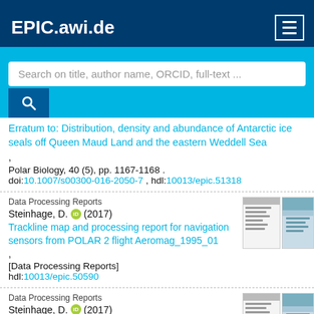EPIC.awi.de
Search on title, author name, ORCID, full-text ...
Erratum to: Distribution, density and abundance of Antarctic ice seals off Queen Maud Land and the eastern Weddell Sea , Polar Biology, 40 (5), pp. 1167-1168 . doi:10.1007/s00300-016-2050-7 , hdl:10013/epic.51318
Data Processing Reports
Steinhage, D. (2017)
Trackline map and processing report for navigation sensors from POLAR 2 flight Aeromag_1995_01 , [Data Processing Reports]
hdl:10013/epic.50590
Data Processing Reports
Steinhage, D. (2017)
Trackline map and processing report for navigation sensors from POLAR 2 flight Aeromag_1995_02 , [Data Processing Reports]